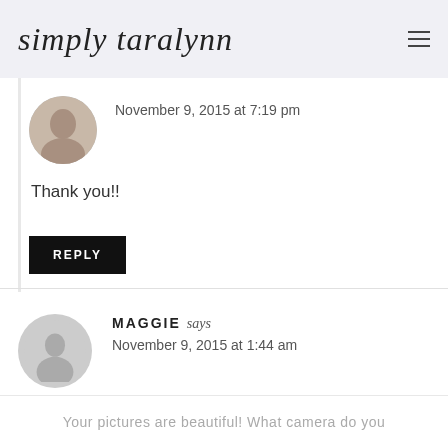simply taralynn
November 9, 2015 at 7:19 pm
Thank you!!
REPLY
MAGGIE says
November 9, 2015 at 1:44 am
Your pictures are beautiful! What camera do you